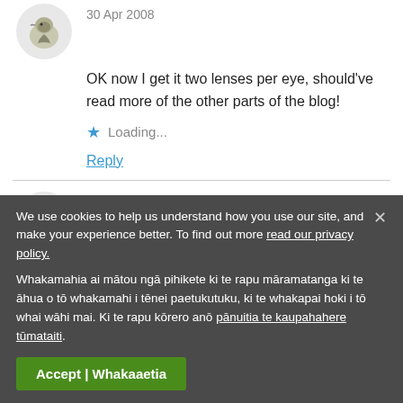[Figure (illustration): Circular avatar with kiwi bird illustration, partially cut off at top]
30 Apr 2008
OK now I get it two lenses per eye, should've read more of the other parts of the blog!
Loading...
Reply
[Figure (illustration): Circular avatar with kiwi bird illustration]
Jean McKinnon
30 Apr 2008
We use cookies to help us understand how you use our site, and make your experience better. To find out more read our privacy policy. Whakamahia ai mātou ngā pihikete ki te rapu māramatanga ki te āhua o tō whakamahi i tēnei paetukutuku, ki te whakapai hoki i tō whai wāhi mai. Ki te rapu kōrero anō pānuitia te kaupahahere tūmataiti.
Accept | Whakaaetia